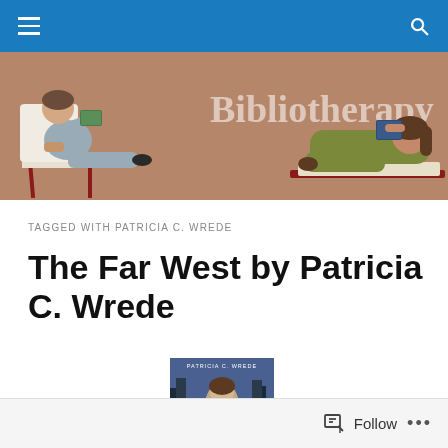Navigation bar with hamburger menu and search icon
[Figure (illustration): Bibliotherapy blog banner illustration showing two people reclining and reading books, with text 'Bibliotherapy' in large serif font on a brownish-tan background]
TAGGED WITH PATRICIA C. WREDE
The Far West by Patricia C. Wrede
[Figure (photo): Book cover of 'The Far West' by Patricia C. Wrede showing a woman and winter/forest scene in blue tones]
Follow ...